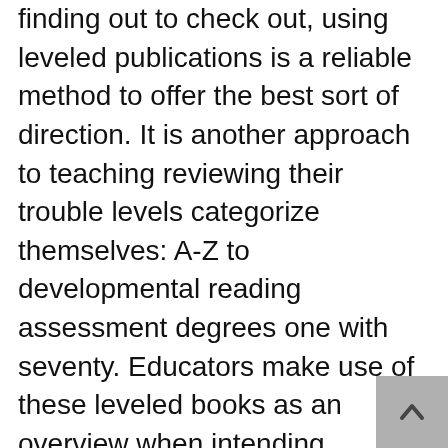finding out to check out, using leveled publications is a reliable method to offer the best sort of direction. It is another approach to teaching reviewing their trouble levels categorize themselves: A-Z to developmental reading assessment degrees one with seventy. Educators make use of these leveled books as an overview when intending analysis instruction. By adding educational books to the child's reading arsenal, they can introduce new subjects and material throughout the day. Knowledgeable viewers just establish from lots of books. Poor visitors do not check out great deals of books, for that reason, do not end up being proficient viewers as well as tend to also do not have understanding abilities.